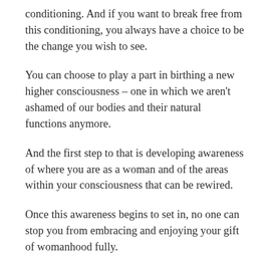conditioning. And if you want to break free from this conditioning, you always have a choice to be the change you wish to see.
You can choose to play a part in birthing a new higher consciousness – one in which we aren't ashamed of our bodies and their natural functions anymore.
And the first step to that is developing awareness of where you are as a woman and of the areas within your consciousness that can be rewired.
Once this awareness begins to set in, no one can stop you from embracing and enjoying your gift of womanhood fully.
Tagged haripriya suraj, when spirit meets science, womb healing.